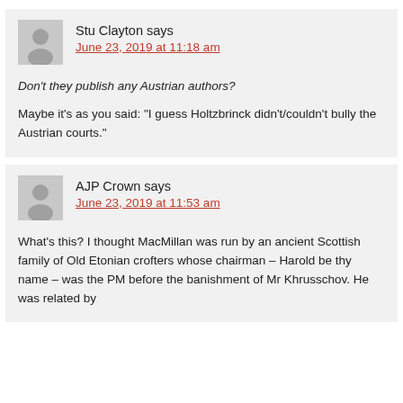Stu Clayton says
June 23, 2019 at 11:18 am
Don't they publish any Austrian authors?
Maybe it's as you said: “I guess Holtzbrinck didn’t/couldn't bully the Austrian courts.”
AJP Crown says
June 23, 2019 at 11:53 am
What’s this? I thought MacMillan was run by an ancient Scottish family of Old Etonian crofters whose chairman – Harold be thy name – was the PM before the banishment of Mr Khrusschov. He was related by